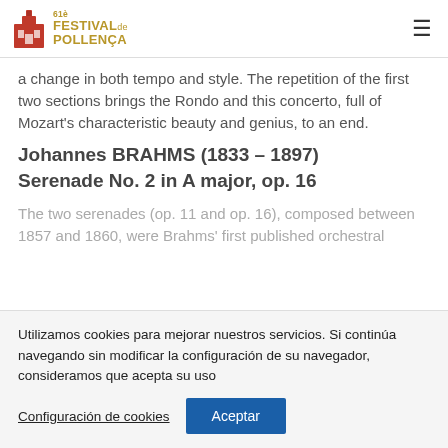61è Festival de Pollença
a change in both tempo and style. The repetition of the first two sections brings the Rondo and this concerto, full of Mozart's characteristic beauty and genius, to an end.
Johannes BRAHMS (1833 – 1897)
Serenade No. 2 in A major, op. 16
The two serenades (op. 11 and op. 16), composed between 1857 and 1860, were Brahms' first published orchestral
Utilizamos cookies para mejorar nuestros servicios. Si continúa navegando sin modificar la configuración de su navegador, consideramos que acepta su uso
Configuración de cookies   Aceptar